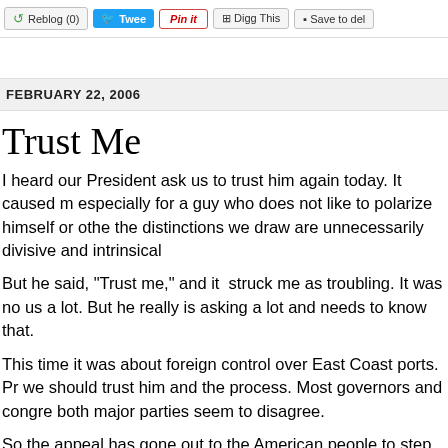Reblog (0) | Tweet | Pin it | Digg This | Save to del
FEBRUARY 22, 2006
Trust Me
I heard our President ask us to trust him again today. It caused me especially for a guy who does not like to polarize himself or other the distinctions we draw are unnecessarily divisive and intrinsica
But he said, "Trust me," and it struck me as troubling. It was no us a lot. But he really is asking a lot and needs to know that.
This time it was about foreign control over East Coast ports. Pr we should trust him and the process. Most governors and congre both major parties seem to disagree.
So the appeal has gone out to the American people to step up t their government. After all, the government always has our best government is always honest - even with itself - and never mista